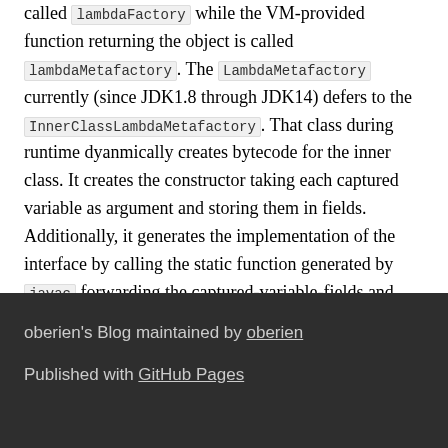called lambdaFactory while the VM-provided function returning the object is called lambdaMetafactory. The LambdaMetafactory currently (since JDK1.8 through JDK14) defers to the InnerClassLambdaMetafactory. That class during runtime dyanmically creates bytecode for the inner class. It creates the constructor taking each captured variable as argument and storing them in fields. Additionally, it generates the implementation of the interface by calling the static function generated by javac forwarding the captured-variable-fields and interface method arguments. Afterwards, it calls the constructor with the captured arguments which have been passed as part of the invokedynamic invocation. The resulting object is returned. This dynamic approach was chosen to allow more efficient ways of handling and representing lambda expressions in the future. ↩
oberien's Blog maintained by oberien
Published with GitHub Pages